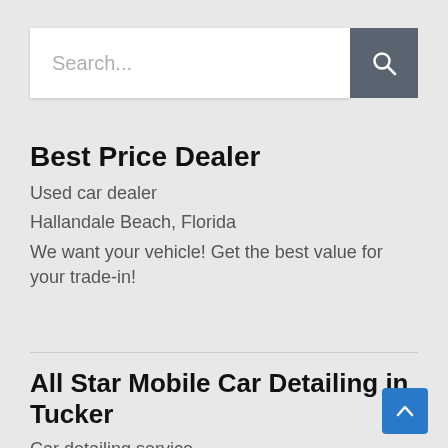[Figure (screenshot): Search bar with text input field showing placeholder 'Search...' and a dark grey search button with magnifying glass icon]
Best Price Dealer
Used car dealer
Hallandale Beach, Florida
We want your vehicle! Get the best value for your trade-in!
All Star Mobile Car Detailing in Tucker
Car detailing service
Tucker, GA